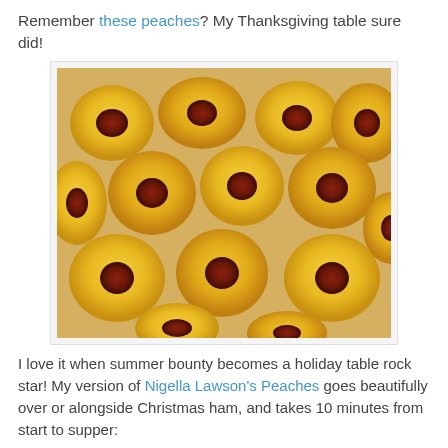Remember these peaches? My Thanksgiving table sure did!
[Figure (photo): Halved peaches arranged on a tray, showing yellow flesh and dark red pits, viewed from above]
I love it when summer bounty becomes a holiday table rock star! My version of Nigella Lawson's Peaches goes beautifully over or alongside Christmas ham, and takes 10 minutes from start to supper:
Christmas Spiced Peaches